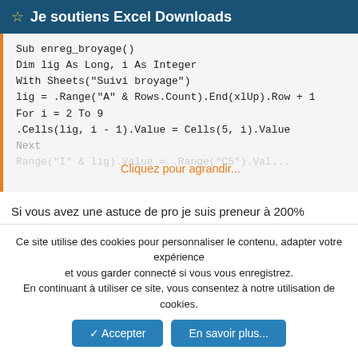Je soutiens Excel Downloads
[Figure (screenshot): VBA code block showing Sub enreg_broyage() with Dim, With, For loop and Cells assignments, partially obscured with 'Cliquez pour agrandir...' overlay]
Si vous avez une astuce de pro je suis preneur à 200%
Merci pour votre aide
↩ Répondre
Ce site utilise des cookies pour personnaliser le contenu, adapter votre expérience et vous garder connecté si vous vous enregistrez.
En continuant à utiliser ce site, vous consentez à notre utilisation de cookies.
✓ Accepter   En savoir plus...